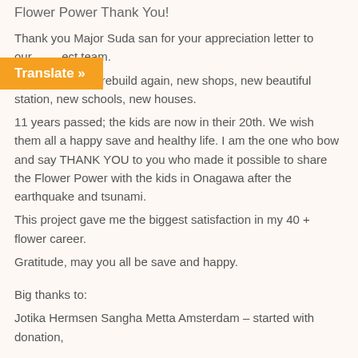Flower Power Thank You!
Thank you Major Suda san for your appreciation letter to our project team.
"AWA" is rebuild again, new shops, new beautiful station, new schools, new houses.
11 years passed; the kids are now in their 20th. We wish them all a happy save and healthy life. I am the one who bow and say THANK YOU to you who made it possible to share the Flower Power with the kids in Onagawa after the earthquake and tsunami.
This project gave me the biggest satisfaction in my 40 + flower career.
Gratitude, may you all be save and happy.
Big thanks to:
Jotika Hermsen Sangha Metta Amsterdam – started with donation,